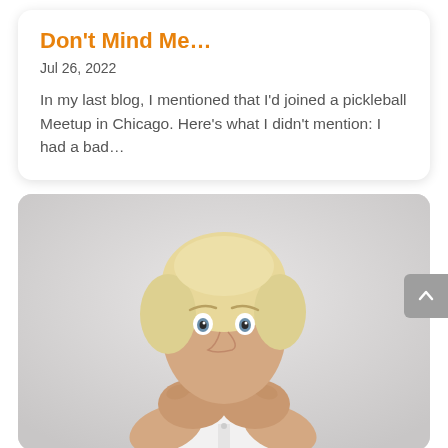Don't Mind Me…
Jul 26, 2022
In my last blog, I mentioned that I'd joined a pickleball Meetup in Chicago. Here's what I didn't mention: I had a bad…
[Figure (photo): Older woman with short blonde hair, wearing white shirt, covering her mouth with both hands in a surprised or embarrassed gesture, against a light gray background.]